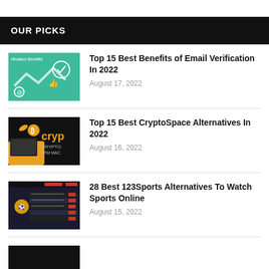OUR PICKS
Top 15 Best Benefits of Email Verification In 2022
August 17, 2022
Top 15 Best CryptoSpace Alternatives In 2022
August 16, 2022
28 Best 123Sports Alternatives To Watch Sports Online
August 15, 2022